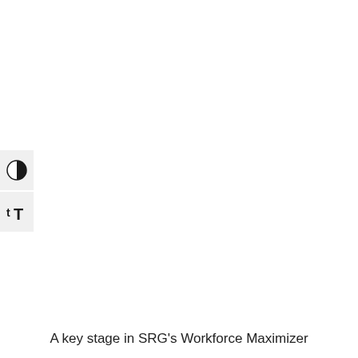[Figure (screenshot): Two UI control buttons stacked vertically on the left side: a contrast toggle button (half-filled circle icon) and a text size button (tT icon)]
A key stage in SRG’s Workforce Maximizer